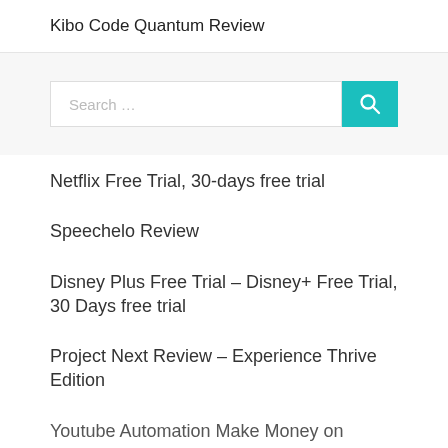Kibo Code Quantum Review
[Figure (screenshot): Search bar with teal search button containing a magnifying glass icon]
Netflix Free Trial, 30-days free trial
Speechelo Review
Disney Plus Free Trial – Disney+ Free Trial, 30 Days free trial
Project Next Review – Experience Thrive Edition
Youtube Automation Make Money on Youtube